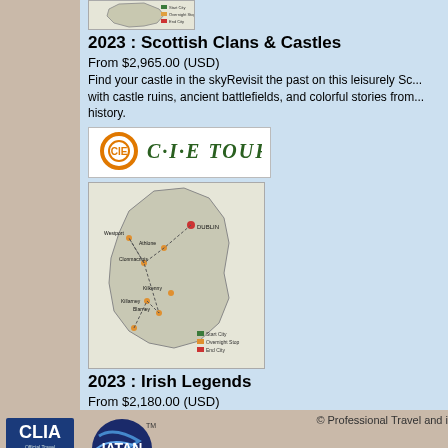[Figure (map): Small map of Scotland with legend showing Start City, Overnight Stops, End City]
2023 : Scottish Clans & Castles
From $2,965.00 (USD)
Find your castle in the skyRevisit the past on this leisurely Scottish tour, with castle ruins, ancient battlefields, and colorful stories from Scotland's history.
[Figure (logo): C-I-E TOURS logo with orange circular ring and green italic text]
[Figure (map): Map of Ireland showing tour route with cities including Dublin, Killarney, Athlone, Westport and others, with legend]
2023 : Irish Legends
From $2,180.00 (USD)
A mythic journey through the Emerald IsleDelve into Ireland's best tour, which mixes in plenty of hidden gems and off-the-beaten-path with the tried-and-true favorites.
[Figure (logo): CLIA Official Travel Agency for the Cruise Industry logo]
[Figure (logo): IATAN TM logo]
© Professional Travel and i
Online Agency Travel Websites